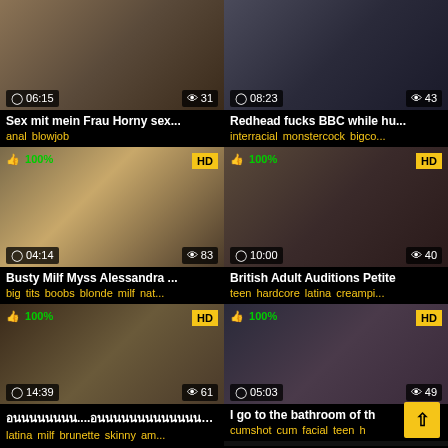[Figure (screenshot): Video thumbnail grid - adult video website with 6 video cards in 2-column layout]
Sex mit mein Frau Horny sex...
anal blowjob
Redhead fucks BBC while hu...
interracial monstercock bigco...
Busty Milf Myss Alessandra ...
big tits boobs blonde milf nat...
British Adult Auditions Petite
teen hardcore latina creampi...
อนนนนนนนน....อนนนนนนนนนนนนนนน3Pอน...
latina milf brunette skinny am...
I go to the bathroom of th
cumshot cum facial teen h